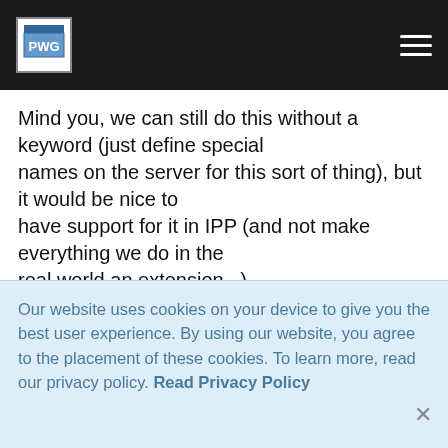PWG navigation header
Mind you, we can still do this without a keyword (just define special names on the server for this sort of thing), but it would be nice to have support for it in IPP (and not make everything we do in the real world an extension...)
--

Michael Sweet, Easy Software Products
Printing Software for UNIX    http
Our website uses cookies on your device to give you the best user experience. By using our website, you agree to the placement of these cookies. To learn more, read our privacy policy. Read Privacy Policy